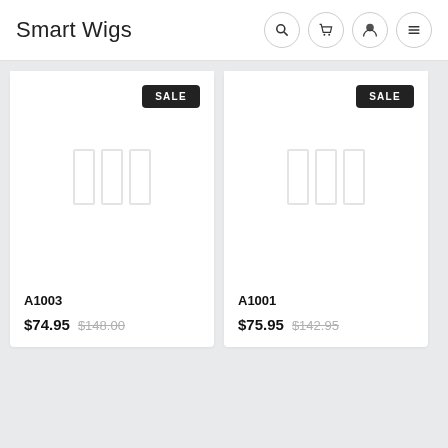Smart Wigs
[Figure (illustration): Product card for A1003 with SALE badge and placeholder image]
A1003
$74.95  $148.00
[Figure (illustration): Product card for A1001 with SALE badge and placeholder image]
A1001
$75.95  $142.95